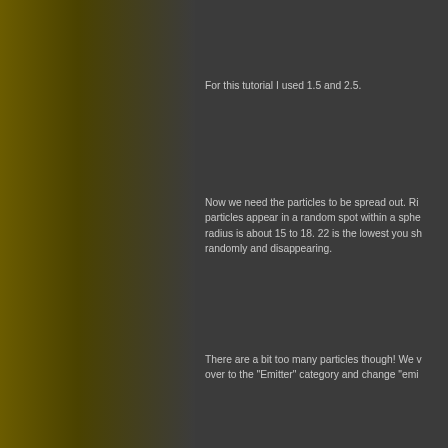For this tutorial I used 1.5 and 2.5.
Now we need the particles to be spread out. Ri particles appear in a random spot within a sphe radius is about 15 to 18. 22 is the lowest you sh randomly and disappearing.
There are a bit too many particles though! We v over to the "Emitter" category and change "emi
Now go back to the "Operator" category and rig Rotate Particle Around Axis". Both of these are on their own and can be used to add gravity. "M direction.
For now, add the "Movement Basic" function ar This can also have negative values to cause th
Now add the "Movement Rotate Particle Aroun Axis" property to specify which axis you wa